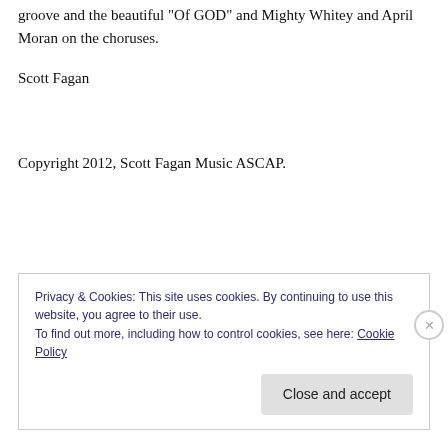groove and the beautiful "Of GOD" and Mighty Whitey and April Moran on the choruses.
Scott Fagan
Copyright 2012, Scott Fagan Music ASCAP.
Privacy & Cookies: This site uses cookies. By continuing to use this website, you agree to their use.
To find out more, including how to control cookies, see here: Cookie Policy
Close and accept